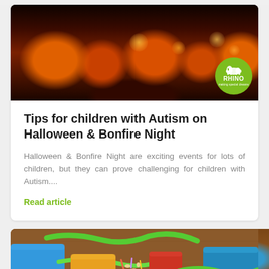[Figure (photo): Halloween photo with glowing jack-o-lanterns and candles in jars on a dark background, with a green Rhino logo circle in the bottom right corner]
Tips for children with Autism on Halloween & Bonfire Night
Halloween & Bonfire Night are exciting events for lots of children, but they can prove challenging for children with Autism....
Read article
[Figure (photo): Colorful clay/playdough pieces in various colors including blue, green, orange, red on a wooden surface]